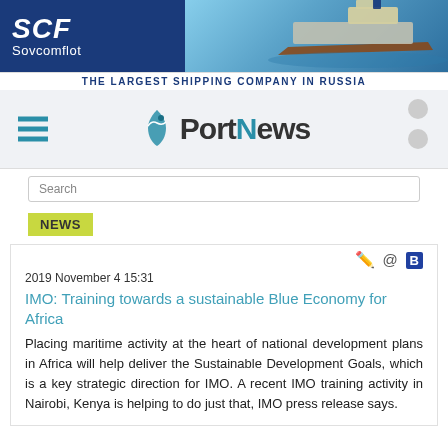[Figure (logo): SCF Sovcomflot banner advertisement with ship photo and tagline THE LARGEST SHIPPING COMPANY IN RUSSIA]
[Figure (logo): PortNews logo with ship icon and hamburger menu]
Search
NEWS
2019 November 4 15:31
IMO: Training towards a sustainable Blue Economy for Africa
Placing maritime activity at the heart of national development plans in Africa will help deliver the Sustainable Development Goals, which is a key strategic direction for IMO. A recent IMO training activity in Nairobi, Kenya is helping to do just that, IMO press release says.